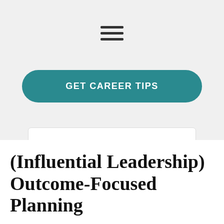[Figure (other): Hamburger menu icon with three horizontal dark lines]
GET CAREER TIPS
Search...
(Influential Leadership) Outcome-Focused Planning